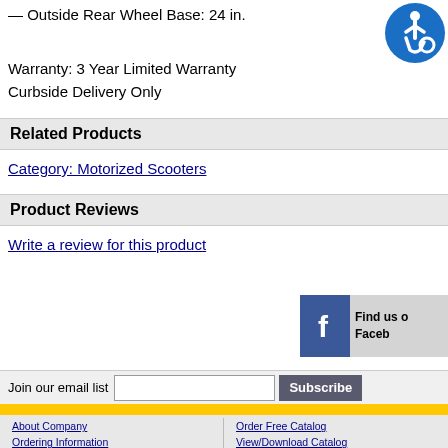— Outside Front Wheel Base: 22 in.
— Outside Rear Wheel Base: 24 in.
Warranty: 3 Year Limited Warranty
Curbside Delivery Only
[Figure (logo): Blue circular accessibility icon with white wheelchair user symbol]
Related Products
Category: Motorized Scooters
Product Reviews
Write a review for this product
[Figure (logo): Find us on Facebook button with Facebook logo]
Join our email list
About Company | Ordering Information | Shipping Information | Privacy & Security | Merchandise Return Request | Contact Us | Become a Dealer / Wholesaler | Order Free Catalog | View/Download Catalog | Back To School Catalog 2020 | Link to HearMore.com | Download Toolbar | Bookmark Us | Sign In / Register